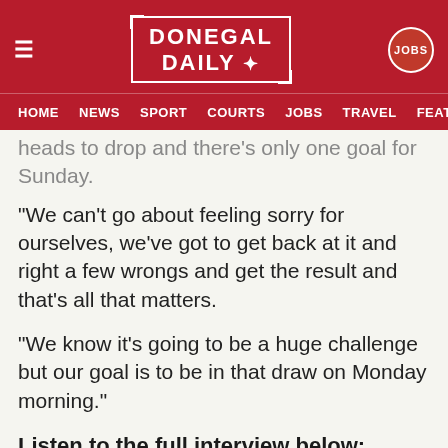DONEGAL DAILY — HOME | NEWS | SPORT | COURTS | JOBS | TRAVEL | FEAT…
heads to drop and there's only one goal for Sunday.
“We can’t go about feeling sorry for ourselves, we’ve got to get back at it and right a few wrongs and get the result and that’s all that matters.
“We know it’s going to be a huge challenge but our goal is to be in that draw on Monday morning.”
Listen to the full interview below: